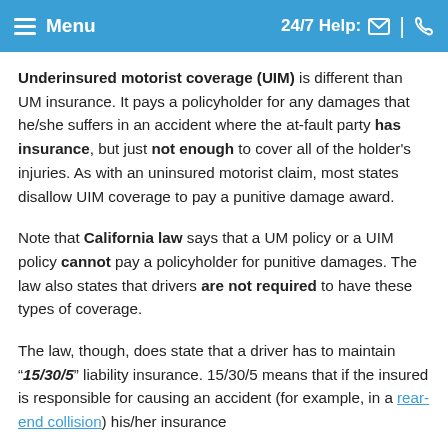Menu  24/7 Help:
Underinsured motorist coverage (UIM) is different than UM insurance. It pays a policyholder for any damages that he/she suffers in an accident where the at-fault party has insurance, but just not enough to cover all of the holder's injuries. As with an uninsured motorist claim, most states disallow UIM coverage to pay a punitive damage award.
Note that California law says that a UM policy or a UIM policy cannot pay a policyholder for punitive damages. The law also states that drivers are not required to have these types of coverage.
The law, though, does state that a driver has to maintain “15/30/5” liability insurance. 15/30/5 means that if the insured is responsible for causing an accident (for example, in a rear-end collision) his/her insurance